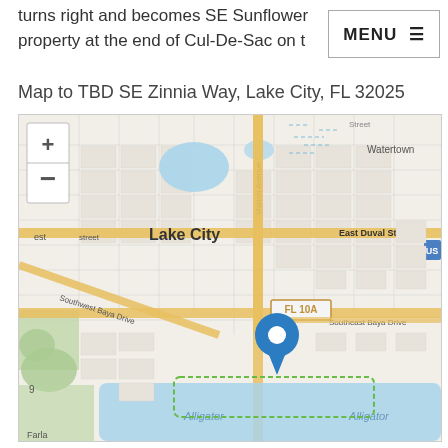turns right and becomes SE Sunflower property at the end of Cul-De-Sac on t
Map to TBD SE Zinnia Way, Lake City, FL 32025
[Figure (map): Street map of Lake City, FL 32025 centered near TBD SE Zinnia Way. Shows Lake City downtown area with major roads including East Duval Street, FL 10A, Southwest Baya Drive, Southeast Baya Drive, Marion Avenue. A blue location pin marker is placed in the south-central area of the map near FL 10A. Water bodies labeled 'Alligator' visible in the lower portion. 'Watertown' label in upper right. Zoom in (+) and zoom out (-) controls in upper left.]